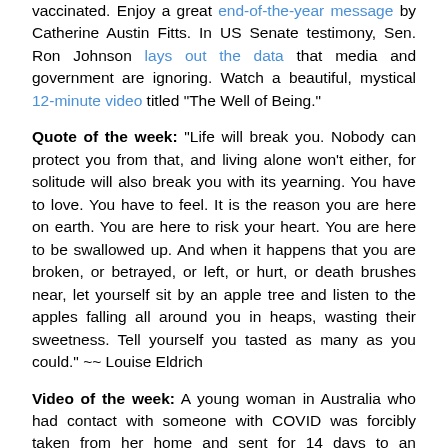vaccinated. Enjoy a great end-of-the-year message by Catherine Austin Fitts. In US Senate testimony, Sen. Ron Johnson lays out the data that media and government are ignoring. Watch a beautiful, mystical 12-minute video titled "The Well of Being."
Quote of the week: "Life will break you. Nobody can protect you from that, and living alone won't either, for solitude will also break you with its yearning. You have to love. You have to feel. It is the reason you are here on earth. You are here to risk your heart. You are here to be swallowed up. And when it happens that you are broken, or betrayed, or left, or hurt, or death brushes near, let yourself sit by an apple tree and listen to the apples falling all around you in heaps, wasting their sweetness. Tell yourself you tasted as many as you could." ~~ Louise Eldrich
Video of the week: A young woman in Australia who had contact with someone with COVID was forcibly taken from her home and sent for 14 days to an internment camp where she wasn't even allowed to leave her small room the entire time there. She never had COVID, was tested at the camp three